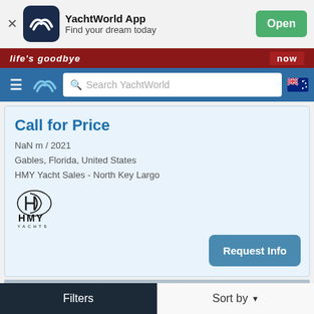YachtWorld App – Find your dream today – Open
[Figure (screenshot): Red advertisement banner strip with italic text 'life's goodbye' on left and 'now' on right]
Search YachtWorld navigation bar with hamburger menu, YachtWorld logo, search box, and Australian flag
Call for Price
NaN m / 2021
Gables, Florida, United States
HMY Yacht Sales - North Key Largo
[Figure (logo): HMY Yachts logo – stylized H letter with HMY YACHTS text below]
Request Info
[Figure (photo): Partial photo of a yacht superstructure/bridge against an overcast sky]
Filters    Sort by